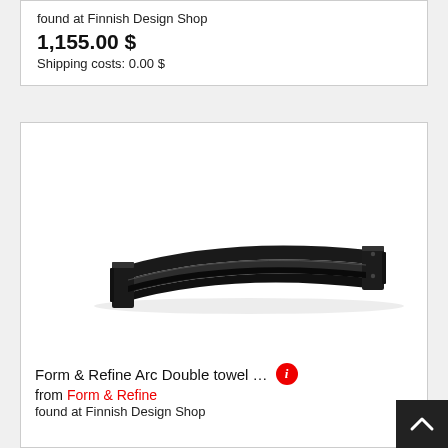found at Finnish Design Shop
1,155.00 $
Shipping costs: 0.00 $
[Figure (photo): Form & Refine Arc Double towel bar product photo — a long slim black metal towel bar with a slight arc shape, shown on white background]
Form & Refine Arc Double towel … [info icon] from Form & Refine
found at Finnish Design Shop